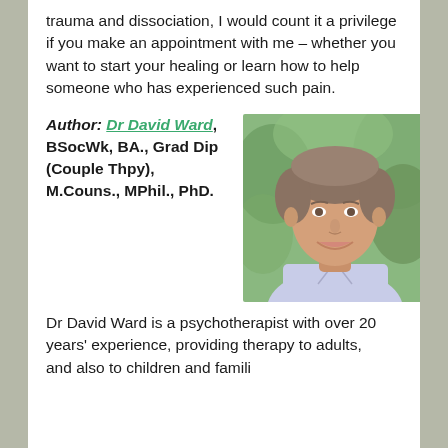trauma and dissociation, I would count it a privilege if you make an appointment with me – whether you want to start your healing or learn how to help someone who has experienced such pain.
Author: Dr David Ward, BSocWk, BA., Grad Dip (Couple Thpy), M.Couns., MPhil., PhD.
[Figure (photo): Headshot photo of Dr David Ward, a middle-aged man with short greying hair, smiling, wearing a light blue striped collared shirt, with green foliage in the background.]
Dr David Ward is a psychotherapist with over 20 years' experience, providing therapy to adults, and also to children and families.